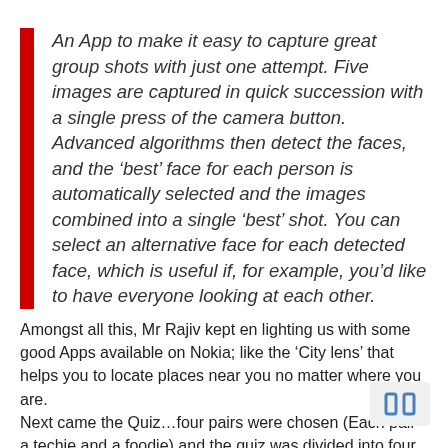An App to make it easy to capture great group shots with just one attempt. Five images are captured in quick succession with a single press of the camera button. Advanced algorithms then detect the faces, and the 'best' face for each person is automatically selected and the images combined into a single 'best' shot. You can select an alternative face for each detected face, which is useful if, for example, you'd like to have everyone looking at each other.
Amongst all this, Mr Rajiv kept en lighting us with some good Apps available on Nokia; like the 'City lens' that helps you to locate places near you no matter where you are.
Next came the Quiz…four pairs were chosen (Each pair a techie and a foodie) and the quiz was divided into four